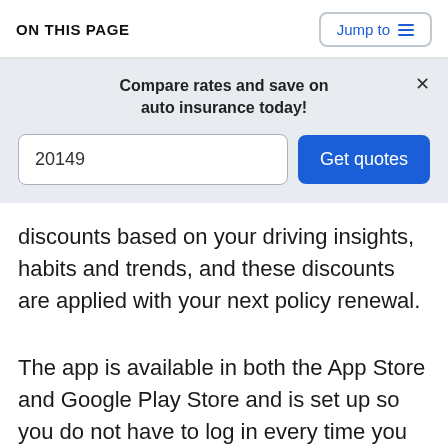ON THIS PAGE
Compare rates and save on auto insurance today!
20149
Get quotes
discounts based on your driving insights, habits and trends, and these discounts are applied with your next policy renewal.
The app is available in both the App Store and Google Play Store and is set up so you do not have to log in every time you are in the vehicle. It will automatically log all the trips you have taken, either as a driver or a passenger, and all the phone